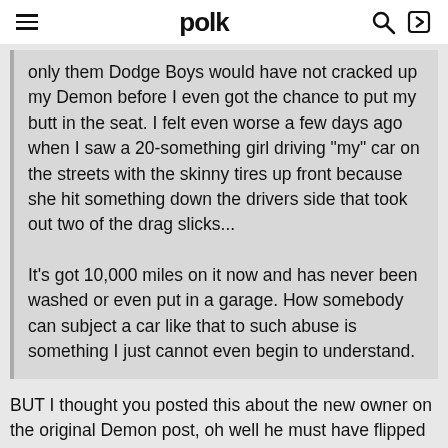polk
only them Dodge Boys would have not cracked up my Demon before I even got the chance to put my butt in the seat. I felt even worse a few days ago when I saw a 20-something girl driving "my" car on the streets with the skinny tires up front because she hit something down the drivers side that took out two of the drag slicks...

It's got 10,000 miles on it now and has never been washed or even put in a garage. How somebody can subject a car like that to such abuse is something I just cannot even begin to understand.
BUT I thought you posted this about the new owner on the original Demon post, oh well he must have flipped it